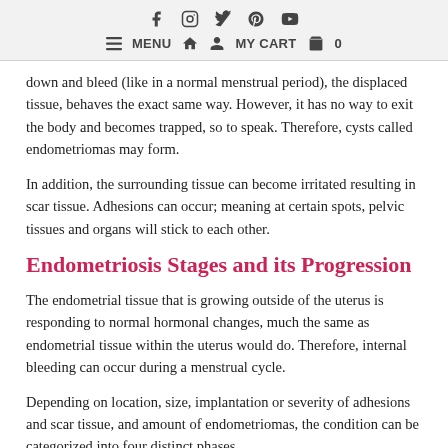Social icons: facebook, instagram, twitter, pinterest, youtube | MENU | home | user | MY CART | bag | 0
down and bleed (like in a normal menstrual period), the displaced tissue, behaves the exact same way. However, it has no way to exit the body and becomes trapped, so to speak. Therefore, cysts called endometriomas may form.
In addition, the surrounding tissue can become irritated resulting in scar tissue. Adhesions can occur; meaning at certain spots, pelvic tissues and organs will stick to each other.
Endometriosis Stages and its Progression
The endometrial tissue that is growing outside of the uterus is responding to normal hormonal changes, much the same as endometrial tissue within the uterus would do. Therefore, internal bleeding can occur during a menstrual cycle.
Depending on location, size, implantation or severity of adhesions and scar tissue, and amount of endometriomas, the condition can be categorized into four distinct phases.